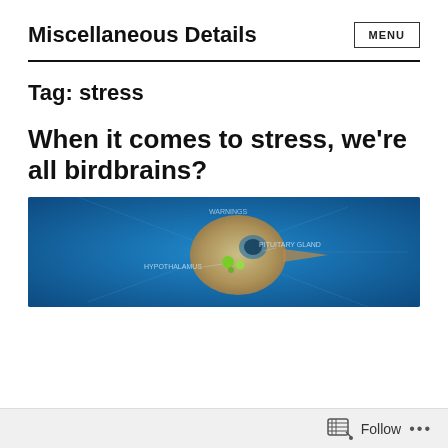Miscellaneous Details
Tag: stress
When it comes to stress, we're all birdbrains?
[Figure (illustration): Blue-toned anatomical illustration of a bird brain showing the hypothalamus and pituitary gland labeled, with glowing green dots and warm orange brain region highlighted on a blue background.]
Follow